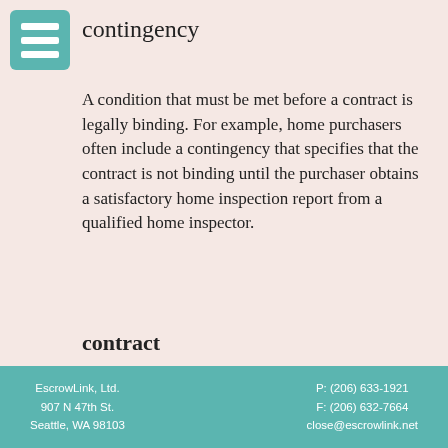contingency
A condition that must be met before a contract is legally binding. For example, home purchasers often include a contingency that specifies that the contract is not binding until the purchaser obtains a satisfactory home inspection report from a qualified home inspector.
contract
An oral or written agreement to do or not do a certain thing.
conventional mortgage
EscrowLink, Ltd. 907 N 47th St. Seattle, WA 98103 P: (206) 633-1921 F: (206) 632-7664 close@escrowlink.net